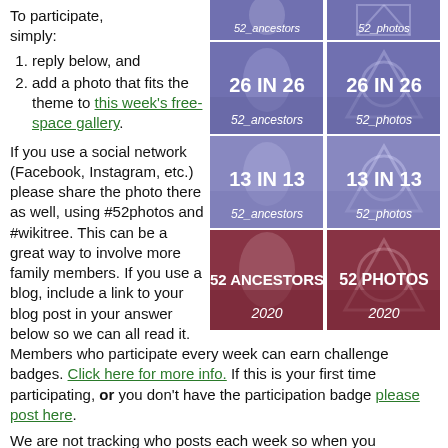To participate, simply:
reply below, and
add a photo that fits the theme to this week's free-space gallery.
[Figure (illustration): Grid of 8 genealogy challenge badge images: 52_ancestors and 52_photos variants for 26 IN 26, 13 IN 13, and 2020 challenges, in purple/blue and red/maroon color schemes.]
If you use a social network (Facebook, Instagram, etc.) please share the photo there as well, using #52photos and #wikitree. This can be a great way to involve more family members. If you use a blog, include a link to your blog post in your answer below so we can all read it.
Members who participate every week can earn challenge badges. Click here for more info. If this is your first time participating, or you don't have the participation badge please post here.
We are not tracking who posts each week so when you